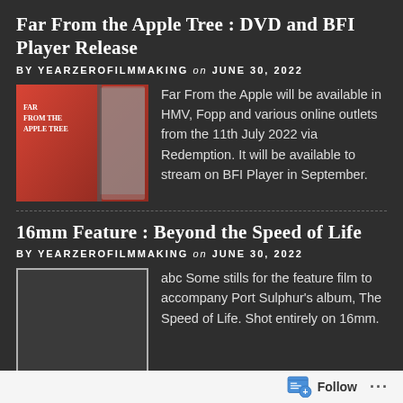Far From the Apple Tree : DVD and BFI Player Release
BY YEARZEROFILMMAKING on JUNE 30, 2022
[Figure (photo): DVD cover for Far From the Apple Tree with red background]
Far From the Apple will be available in HMV, Fopp and various online outlets from the 11th July 2022 via Redemption. It will be available to stream on BFI Player in September.
16mm Feature : Beyond the Speed of Life
BY YEARZEROFILMMAKING on JUNE 30, 2022
[Figure (photo): Blank/placeholder image with grey border for 16mm feature]
abc Some stills for the feature film to accompany Port Sulphur's album, The Speed of Life. Shot entirely on 16mm.
Night Kaleidoscope DVD Available in HMV